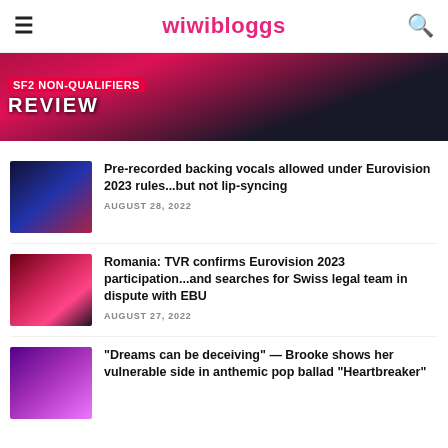wiwibloggs
[Figure (photo): SF2 Non-Qualifiers Review banner with red background and text overlay]
Pre-recorded backing vocals allowed under Eurovision 2023 rules...but not lip-syncing
AUGUST 28, 2022
Romania: TVR confirms Eurovision 2023 participation...and searches for Swiss legal team in dispute with EBU
AUGUST 27, 2022
"Dreams can be deceiving" — Brooke shows her vulnerable side in anthemic pop ballad "Heartbreaker"